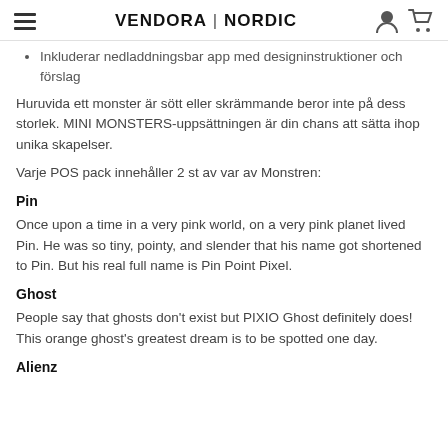VENDORA | NORDIC
Inkluderar nedladdningsbar app med designinstruktioner och förslag
Huruvida ett monster är sött eller skrämmande beror inte på dess storlek. MINI MONSTERS-uppsättningen är din chans att sätta ihop unika skapelser.
Varje POS pack innehåller 2 st av var av Monstren:
Pin
Once upon a time in a very pink world, on a very pink planet lived Pin. He was so tiny, pointy, and slender that his name got shortened to Pin. But his real full name is Pin Point Pixel.
Ghost
People say that ghosts don't exist but PIXIO Ghost definitely does! This orange ghost's greatest dream is to be spotted one day.
Alienz